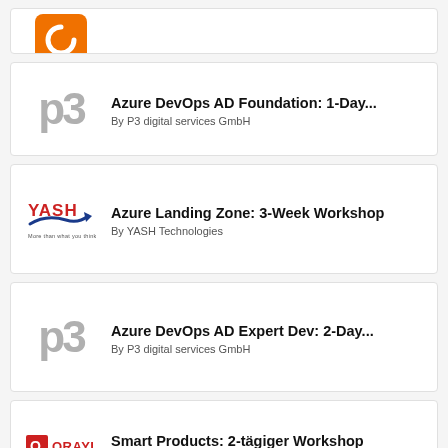[Figure (logo): Partial card with orange logo at top]
Azure DevOps AD Foundation: 1-Day... By P3 digital services GmbH
Azure Landing Zone: 3-Week Workshop By YASH Technologies
Azure DevOps AD Expert Dev: 2-Day... By P3 digital services GmbH
Smart Products: 2-tägiger Workshop By ORAYLIS GmbH